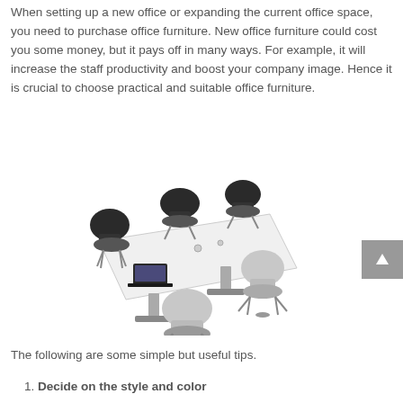When setting up a new office or expanding the current office space, you need to purchase office furniture. New office furniture could cost you some money, but it pays off in many ways. For example, it will increase the staff productivity and boost your company image. Hence it is crucial to choose practical and suitable office furniture.
[Figure (photo): A modern office meeting table with several black and grey chairs arranged around it, shown from a slightly elevated angle on a white background.]
The following are some simple but useful tips.
1. Decide on the style and color